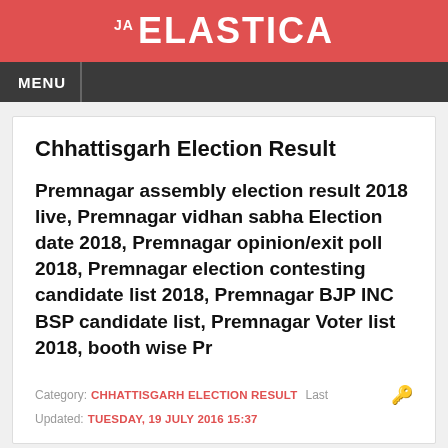JA ELASTICA
MENU
Chhattisgarh Election Result
Premnagar assembly election result 2018 live, Premnagar vidhan sabha Election date 2018, Premnagar opinion/exit poll 2018, Premnagar election contesting candidate list 2018, Premnagar BJP INC BSP candidate list, Premnagar Voter list 2018, booth wise Pr
Category: CHHATTISGARH ELECTION RESULT   Last Updated: TUESDAY, 19 JULY 2016 15:37